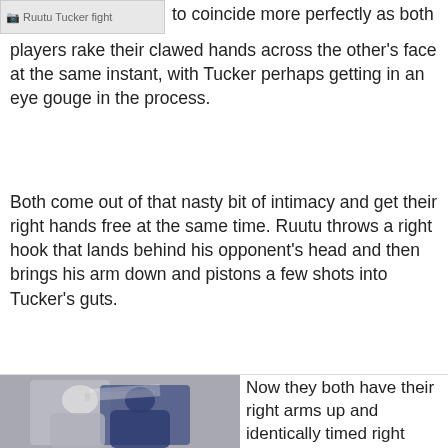to coincide more perfectly as both players rake their clawed hands across the other's face at the same instant, with Tucker perhaps getting in an eye gouge in the process.
Both come out of that nasty bit of intimacy and get their right hands free at the same time. Ruutu throws a right hook that lands behind his opponent's head and then brings his arm down and pistons a few shots into Tucker's guts.
[Figure (photo): Two ice hockey players fighting on the ice, one in white jersey and one in dark blue jersey, exchanging punches]
Now they both have their right arms up and identically timed right hooks glance off both of their faces. Another